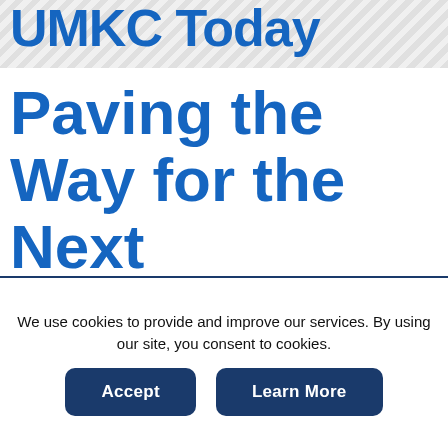UMKC Today
Paving the Way for the Next Generation
Two HMKC learn from...
We use cookies to provide and improve our services. By using our site, you consent to cookies.
Accept
Learn More